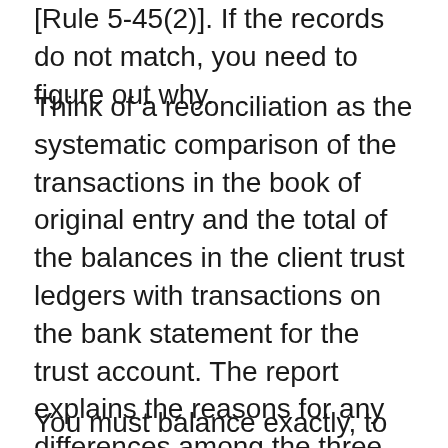[Rule 5-45(2)]. If the records do not match, you need to figure out why.
Think of a reconciliation as the systematic comparison of the transactions in the book of original entry and the total of the balances in the client trust ledgers with transactions on the bank statement for the trust account. The report explains the reasons for any differences among the three balances by recording ‘reconciling items’ to show that the balances are the same as the bank statement balance when the reconciling items are included.
You must balance exactly, to the penny.